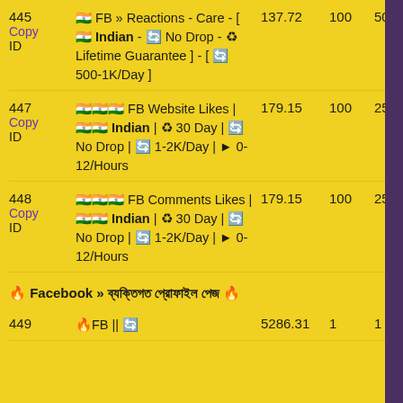| ID | Description | Price | Min | Max |
| --- | --- | --- | --- | --- |
| 445
Copy
ID | 🇮🇳 FB » Reactions - Care - [ 🇮🇳 Indian - 🔄 No Drop - ♻ Lifetime Guarantee ] - [ 🔄 500-1K/Day ] | 137.72 | 100 | 500 |
| 447
Copy
ID | 🇮🇳🇮🇳🇮🇳 FB Website Likes | 🇮🇳🇮🇳 Indian | ♻ 30 Day | 🔄 No Drop | 🔄 1-2K/Day | ▶ 0-12/Hours | 179.15 | 100 | 250 |
| 448
Copy
ID | 🇮🇳🇮🇳🇮🇳 FB Comments Likes | 🇮🇳🇮🇳 Indian | ♻ 30 Day | 🔄 No Drop | 🔄 1-2K/Day | ▶ 0-12/Hours | 179.15 | 100 | 250 |
🔥 Facebook » ব্যক্তিগত প্রোফাইল পেজ 🔥
| ID | Description | Price | Min | Max |
| --- | --- | --- | --- | --- |
| 449 | 🔥FB || 🔄 | 5286.31 | 1 | 1 |